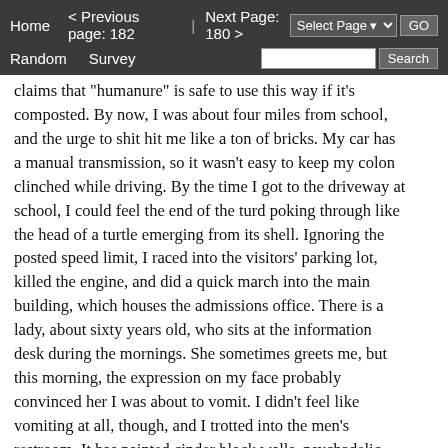Home   < Previous page: 182  |  Next Page: 180 >
Random   Survey   [Select Page] GO
[Search box] Search
claims that "humanure" is safe to use this way if it's composted. By now, I was about four miles from school, and the urge to shit hit me like a ton of bricks. My car has a manual transmission, so it wasn't easy to keep my colon clinched while driving. By the time I got to the driveway at school, I could feel the end of the turd poking through like the head of a turtle emerging from its shell. Ignoring the posted speed limit, I raced into the visitors' parking lot, killed the engine, and did a quick march into the main building, which houses the admissions office. There is a lady, about sixty years old, who sits at the information desk during the mornings. She sometimes greets me, but this morning, the expression on my face probably convinced her I was about to vomit. I didn't feel like vomiting at all, though, and I trotted into the men's restroom. It has painted cinder block walls, psychadelic 1960's mosaic tiles on the floor, and wall-mounted crappers. I found a suitable-looking toilet, dropped my jeans, and the shit began to flow. It wasn't as solid as I would have liked, but it